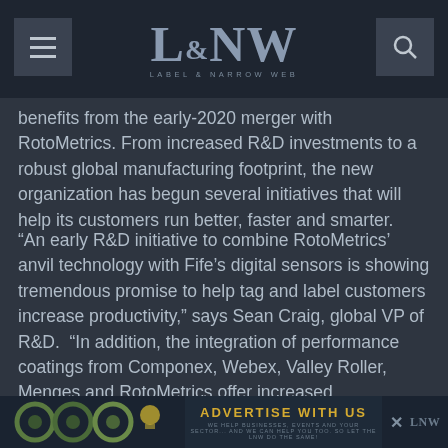L&NW LABEL & NARROW WEB
benefits from the early-2020 merger with RotoMetrics. From increased R&D investments to a robust global manufacturing footprint, the new organization has begun several initiatives that will help its customers run better, faster and smarter.
“An early R&D initiative to combine RotoMetrics’ anvil technology with Fife’s digital sensors is showing tremendous promise to help tag and label customers increase productivity,” says Sean Craig, global VP of R&D.  “In addition, the integration of performance coatings from Componex, Webex, Valley Roller, Menges and RotoMetrics offer increased performance on a variety of roller products, including nip rolls, idler rolls and more across a variety of industries, including packaging and medical applications.”
[Figure (other): ADVERTISE WITH US banner ad at the bottom of the page with gear imagery on the left and LNW logo on the right]